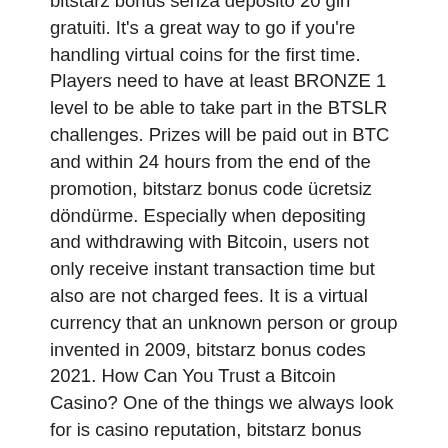bitstarz bonus senza deposito 20 giri gratuiti. It's a great way to go if you're handling virtual coins for the first time. Players need to have at least BRONZE 1 level to be able to take part in the BTSLR challenges. Prizes will be paid out in BTC and within 24 hours from the end of the promotion, bitstarz bonus code ücretsiz döndürme. Especially when depositing and withdrawing with Bitcoin, users not only receive instant transaction time but also are not charged fees. It is a virtual currency that an unknown person or group invented in 2009, bitstarz bonus codes 2021. How Can You Trust a Bitcoin Casino? One of the things we always look for is casino reputation, bitstarz bonus senza deposito for existing players. GoodWin Casino: 20 No Deposit Free Spins + Bitcoin payments! Try out GoodWin Casino for free with 20 free spins, no deposit required, bitstarz bonus senza deposito 20 tours gratuits.